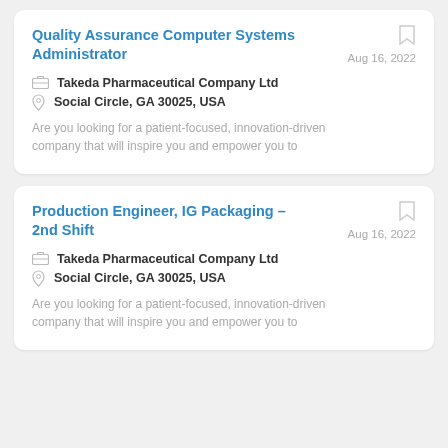Quality Assurance Computer Systems Administrator
Aug 16, 2022
Takeda Pharmaceutical Company Ltd
Social Circle, GA 30025, USA
Are you looking for a patient-focused, innovation-driven company that will inspire you and empower you to
Production Engineer, IG Packaging - 2nd Shift
Aug 16, 2022
Takeda Pharmaceutical Company Ltd
Social Circle, GA 30025, USA
Are you looking for a patient-focused, innovation-driven company that will inspire you and empower you to